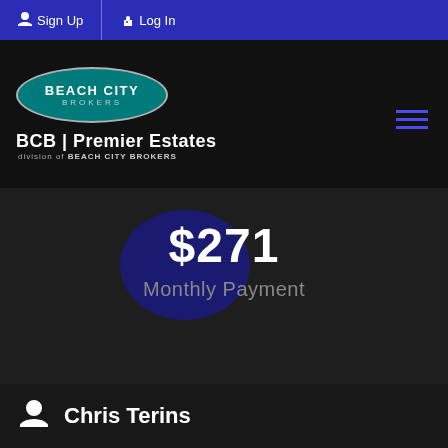Sign Up | Log In
[Figure (logo): Beach City Brokers logo with teal oval and BCB Premier Estates branding]
$271
Monthly Payment
Chris Terins